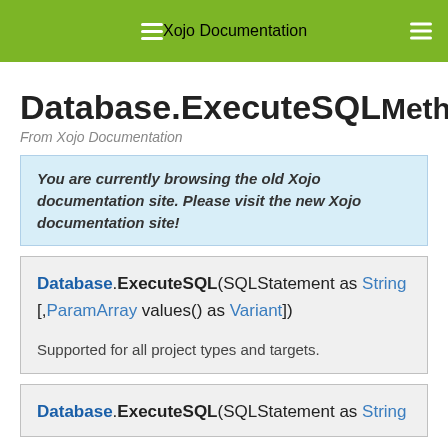Xojo Documentation
Database.ExecuteSQL    Method
From Xojo Documentation
You are currently browsing the old Xojo documentation site. Please visit the new Xojo documentation site!
Database.ExecuteSQL(SQLStatement as String [,ParamArray values() as Variant])

Supported for all project types and targets.
Database.ExecuteSQL(SQLStatement as String